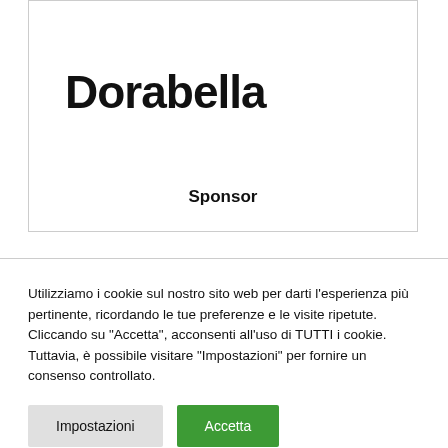[Figure (logo): Dorabella sponsor box with logo text and 'Sponsor' label at bottom]
Utilizziamo i cookie sul nostro sito web per darti l'esperienza più pertinente, ricordando le tue preferenze e le visite ripetute. Cliccando su "Accetta", acconsenti all'uso di TUTTI i cookie. Tuttavia, è possibile visitare "Impostazioni" per fornire un consenso controllato.
Impostazioni
Accetta